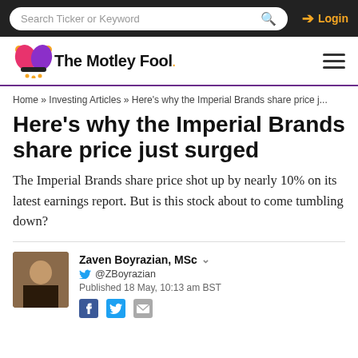Search Ticker or Keyword | Login
[Figure (logo): The Motley Fool logo with jester hat icon]
Home » Investing Articles » Here's why the Imperial Brands share price j...
Here's why the Imperial Brands share price just surged
The Imperial Brands share price shot up by nearly 10% on its latest earnings report. But is this stock about to come tumbling down?
Zaven Boyrazian, MSc
@ZBoyrazian
Published 18 May, 10:13 am BST